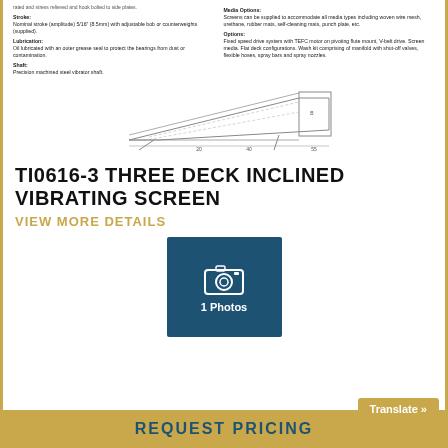Stroke:
Nominal stroke (amplitude) 5/16" (8.5mm) with adjustable bob or counterweights (supplied).

Lubrication:
Oil lubricated with an outer grease seal to protect the bearings from dust or contamination.

Shaft:
Precision machined steel vibrator shaft.
Media Options:
Screens can be supplied to accommodate all media types including woven wire mesh, urethane, rubber mats, self-cleaning mats, punch plate, etc.

Options:
Fixed speed drive system with TEFC motor on pivoting flute mount, V-belt drive. Screen media. Flat deck configurations. Wash kit comprising of manifold with shut-off valves, flexible hoses, spray bars and spray nozzles.
[Figure (engineering-diagram): Technical line drawing of a three-deck inclined vibrating screen shown in side profile view, with dotted lines indicating internal deck structure and dimensional markers.]
TI0616-3 THREE DECK INCLINED VIBRATING SCREEN
VIEW MORE DETAILS
[Figure (photo): Dark blue button with a camera icon and the text '1 Photos']
REQUEST PRICING
Translate »